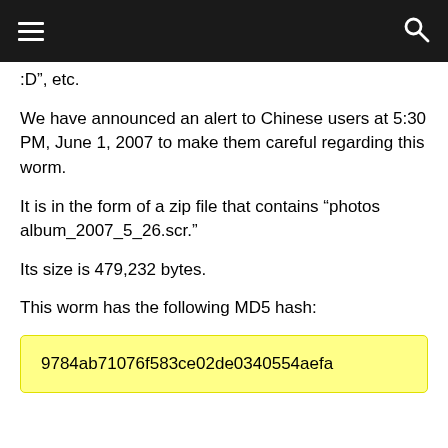:D”, etc.
We have announced an alert to Chinese users at 5:30 PM, June 1, 2007 to make them careful regarding this worm.
It is in the form of a zip file that contains “photos album_2007_5_26.scr.”
Its size is 479,232 bytes.
This worm has the following MD5 hash:
9784ab71076f583ce02de0340554aefa